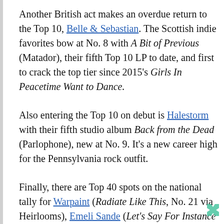Another British act makes an overdue return to the Top 10, Belle & Sebastian. The Scottish indie favorites bow at No. 8 with A Bit of Previous (Matador), their fifth Top 10 LP to date, and first to crack the top tier since 2015's Girls In Peacetime Want to Dance.
Also entering the Top 10 on debut is Halestorm with their fifth studio album Back from the Dead (Parlophone), new at No. 9. It's a new career high for the Pennsylvania rock outfit.
Finally, there are Top 40 spots on the national tally for Warpaint (Radiate Like This, No. 21 via Heirlooms), Emeli Sande (Let's Say For Instance No. 27 via Chrysalis), Sharon Van Etten (We've Been Going About This All Wrong at No. 28 via Jagjaguwar), and Kylie Minogue (Infinite Disco